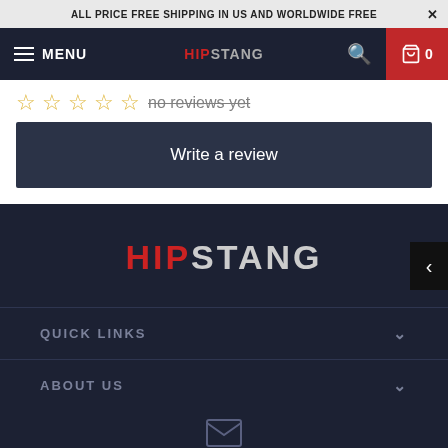ALL PRICE FREE SHIPPING IN US AND WORLDWIDE FREE×
MENU | HIPSTANG | 🔍 | 🛒 0
☆☆☆☆☆ no reviews yet
Write a review
[Figure (logo): HIPSTANG logo in red and grey on dark background]
QUICK LINKS
ABOUT US